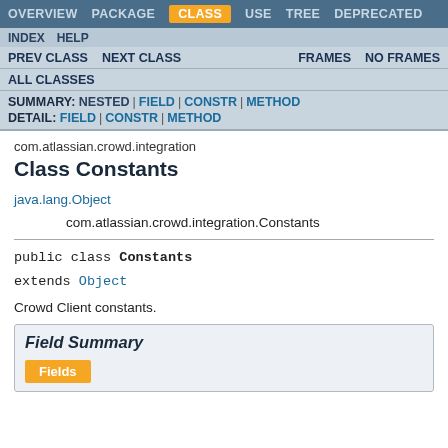OVERVIEW  PACKAGE  CLASS  USE  TREE  DEPRECATED
INDEX  HELP
PREV CLASS  NEXT CLASS  FRAMES  NO FRAMES
ALL CLASSES
SUMMARY: NESTED | FIELD | CONSTR | METHOD  DETAIL: FIELD | CONSTR | METHOD
com.atlassian.crowd.integration
Class Constants
java.lang.Object
    com.atlassian.crowd.integration.Constants
public class Constants
extends Object
Crowd Client constants.
Field Summary
Fields